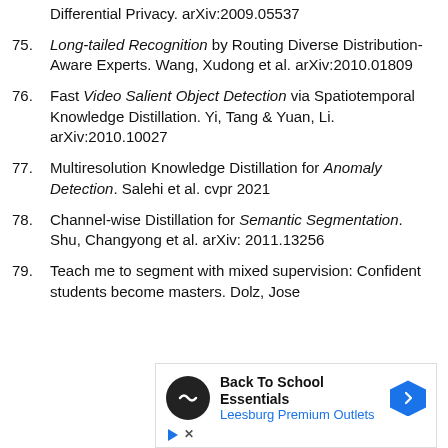Differential Privacy. arXiv:2009.05537
75. Long-tailed Recognition by Routing Diverse Distribution-Aware Experts. Wang, Xudong et al. arXiv:2010.01809
76. Fast Video Salient Object Detection via Spatiotemporal Knowledge Distillation. Yi, Tang & Yuan, Li. arXiv:2010.10027
77. Multiresolution Knowledge Distillation for Anomaly Detection. Salehi et al. cvpr 2021
78. Channel-wise Distillation for Semantic Segmentation. Shu, Changyong et al. arXiv: 2011.13256
79. Teach me to segment with mixed supervision: Confident students become masters. Dolz, Jose
[Figure (other): Advertisement banner for Back To School Essentials at Leesburg Premium Outlets with navigation arrow icon and close/play controls]